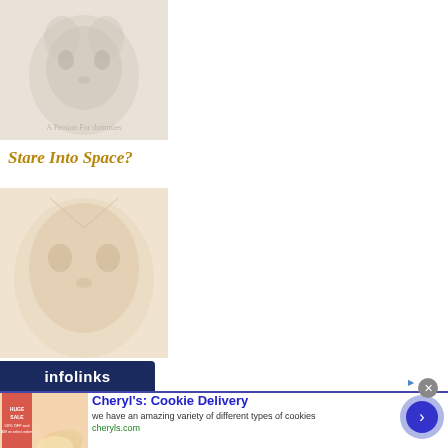[Figure (photo): Faded/washed-out photo of a cat (Persian or similar fluffy breed) looking forward, very light tones]
Stare Into Space?
[Figure (photo): Faded/washed-out photo of an orange tabby cat in close-up, very light warm tones]
[Figure (logo): Infolinks logo — white text on dark navy background]
[Figure (photo): Ad image: cookies/baked goods on a plate with sale signage]
Cheryl's: Cookie Delivery
we have an amazing variety of different types of cookies
cheryls.com